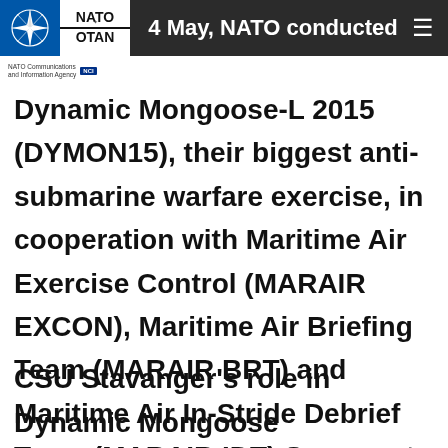4 May, NATO conducted
[Figure (logo): NATO/OTAN logo with compass star emblem on blue/white/black background]
Dynamic Mongoose-L 2015 (DYMON15), their biggest anti-submarine warfare exercise, in cooperation with Maritime Air Exercise Control (MARAIR EXCON), Maritime Air Briefing Team (MARAIR BRT) and Maritime Air In-Stride Debrief Team (MARAIR IDT) Spaces at Sola Airbase near Stavanger, Norway.
CSU Stavanger's role in Dynamic Mongoose